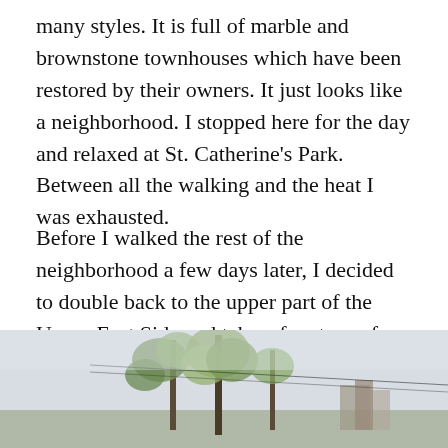many styles. It is full of marble and brownstone townhouses which have been restored by their owners. It just looks like a neighborhood. I stopped here for the day and relaxed at St. Catherine's Park. Between all the walking and the heat I was exhausted.
Before I walked the rest of the neighborhood a few days later, I decided to double back to the upper part of the Upper East Side and take a free tour of Gracie Mansion, the home of the Mayor of New York City and his family (See review on TripAdvisor and VisitingaMuseum@Wordpress.com). On a beautiful day being next to the river, there is nothing like this tour.
[Figure (photo): Outdoor photo showing bare trees with spring foliage against a light sky, with buildings visible in the background — appears to be taken near a park or riverside area.]